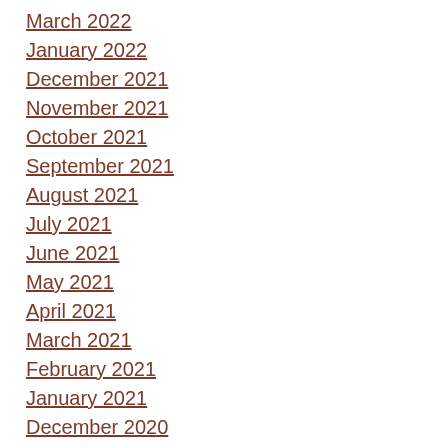March 2022
January 2022
December 2021
November 2021
October 2021
September 2021
August 2021
July 2021
June 2021
May 2021
April 2021
March 2021
February 2021
January 2021
December 2020
November 2020
October 2020
September 2020
August 2020